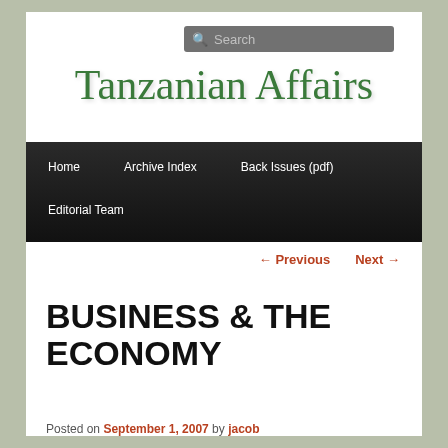[Figure (screenshot): Search bar with magnifying glass icon and placeholder text 'Search']
Tanzanian Affairs
Home   Archive Index   Back Issues (pdf)   Editorial Team
← Previous   Next →
BUSINESS & THE ECONOMY
Posted on September 1, 2007 by jacob